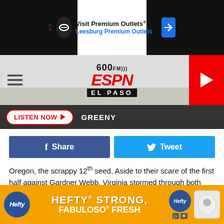[Figure (screenshot): Advertisement banner for Visit Premium Outlets / Leesburg Premium Outlets with black side bars and navigation arrow icon]
[Figure (logo): 600 AM ESPN El Paso radio station logo with hamburger menu on left and red play button on right]
LISTEN NOW ▶  GREENY
[Figure (infographic): Facebook Share button (blue) and Twitter Tweet button (cyan) social sharing buttons]
Oregon, the scrappy 12th seed. Aside to their scare of the first half against Gardner Webb, Virginia stormed through both first round opponents with ease. Oregon out-scored their opponents (Wisconsin and UC Irvine) 145-108 through the opening rounds.
The Cavaliers makeup of De'Andre Hunter—a projected top-10 NBA ... m a Final F... ayton
[Figure (screenshot): Hefty / Fabuloso advertisement banner: HEFTY STRONG, FABULOSO FRESH on orange background]